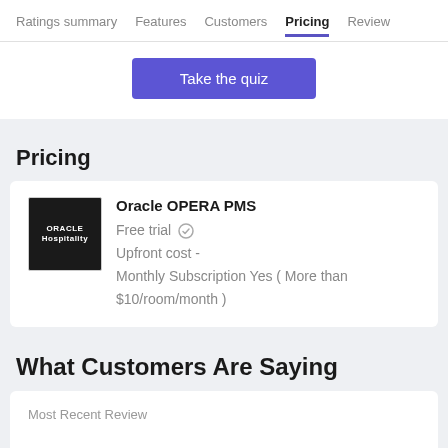Ratings summary   Features   Customers   Pricing   Review
[Figure (screenshot): Blue 'Take the quiz' button on white background]
Pricing
Oracle OPERA PMS
Free trial ✓
Upfront cost -
Monthly Subscription Yes ( More than $10/room/month )
What Customers Are Saying
Most Recent Review